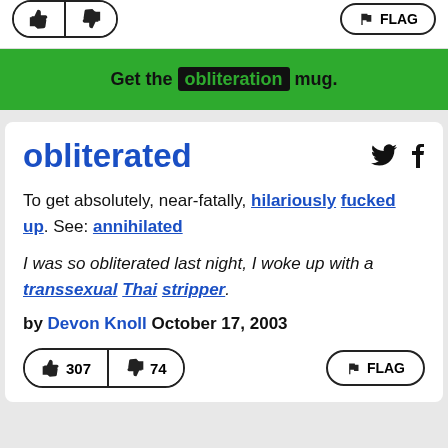[Figure (other): Partial top bar showing thumbs up/down buttons and flag button]
Get the obliteration mug.
obliterated
To get absolutely, near-fatally, hilariously fucked up. See: annihilated
I was so obliterated last night, I woke up with a transsexual Thai stripper.
by Devon Knoll October 17, 2003
[Figure (other): Bottom vote buttons: thumbs up 307, thumbs down 74, and FLAG button]